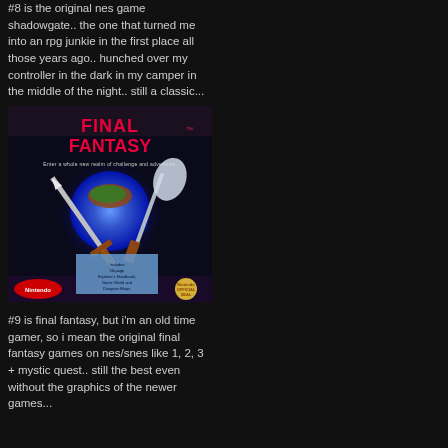#8 is the original nes game shadowgate.. the one that turned me into an rpg junkie in the first place all those years ago.. hunched over my controller in the dark in my camper in the middle of the night.. still a classic...
[Figure (photo): Cover art of the original NES game Final Fantasy, showing the title logo in pink/red letters, two crossed swords and an axe over a glowing blue orb with a landmass, on a dark background. Nintendo branding visible. Text reads 'Enter a whole new realm of challenge and adventure.']
#9 is final fantasy, but i'm an old time gamer, so i mean the original final fantasy games on nes/snes like 1, 2, 3 + mystic quest.. still the best even without the graphics of the newer games...